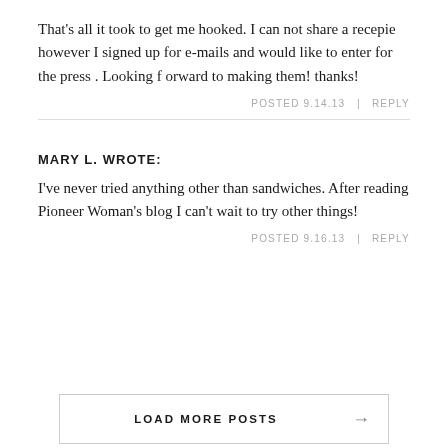That's all it took to get me hooked. I can not share a recepie however I signed up for e-mails and would like to enter for the press . Looking f orward to making them! thanks!
POSTED 9.14.13  |  REPLY
MARY L. WROTE:
I've never tried anything other than sandwiches. After reading Pioneer Woman's blog I can't wait to try other things!
POSTED 9.16.13  |  REPLY
LOAD MORE POSTS